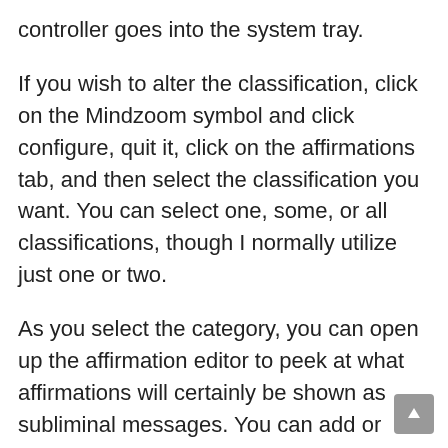controller goes into the system tray.
If you wish to alter the classification, click on the Mindzoom symbol and click configure, quit it, click on the affirmations tab, and then select the classification you want. You can select one, some, or all classifications, though I normally utilize just one or two.
As you select the category, you can open up the affirmation editor to peek at what affirmations will certainly be shown as subliminal messages. You can add or deduct affirmations by erasing or writing your very own, such as adding your favorite affirmations from other programs or books you've reviewed * hint tip.
You can alter the setting of the messages to show up